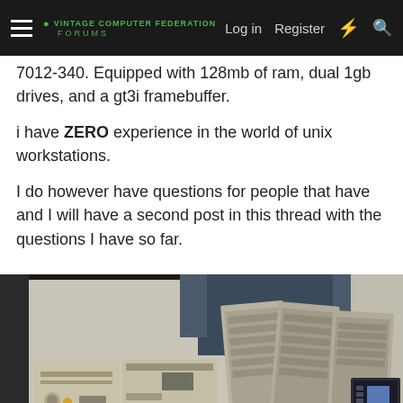Navigation bar with hamburger menu, forum logo, Log in, Register, and search icons
7012-340. Equipped with 128mb of ram, dual 1gb drives, and a gt3i framebuffer.
i have ZERO experience in the world of unix workstations.
I do however have questions for people that have and I will have a second post in this thread with the questions I have so far.
[Figure (photo): Photo of vintage Unix workstations/computers on a desk, showing beige tower units with multiple keyboards leaning against a wall, and a Dell laptop monitor visible on the right side.]